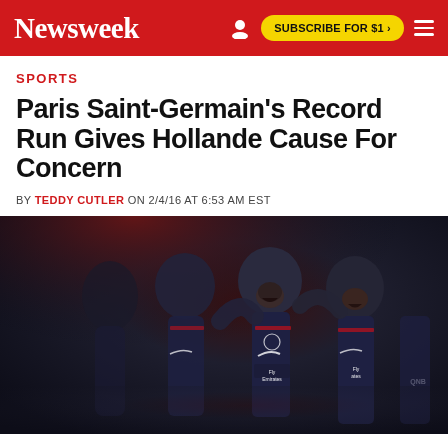Newsweek | SUBSCRIBE FOR $1 >
SPORTS
Paris Saint-Germain's Record Run Gives Hollande Cause For Concern
BY TEDDY CUTLER ON 2/4/16 AT 6:53 AM EST
[Figure (photo): Paris Saint-Germain football players in dark navy jerseys celebrating on the pitch, laughing and embracing. Jerseys show Fly Emirates and QNB sponsors.]